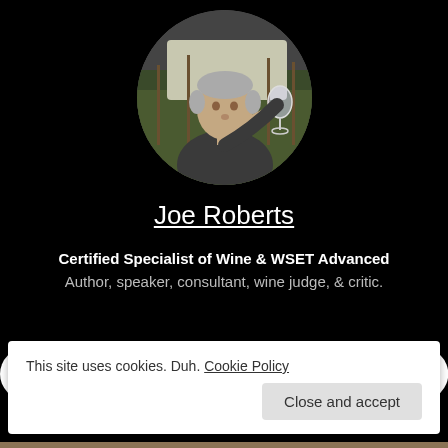[Figure (photo): Circular profile photo of Joe Roberts, a man with short gray hair drinking wine from a glass, with a vineyard in the background.]
Joe Roberts
Certified Specialist of Wine & WSET Advanced
Author, speaker, consultant, wine judge, & critic.
[Figure (infographic): Row of six white social media icons on black background: Facebook, Instagram, Twitter, LinkedIn, RSS feed, and a chain/link icon.]
This site uses cookies. Duh. Cookie Policy
Close and accept